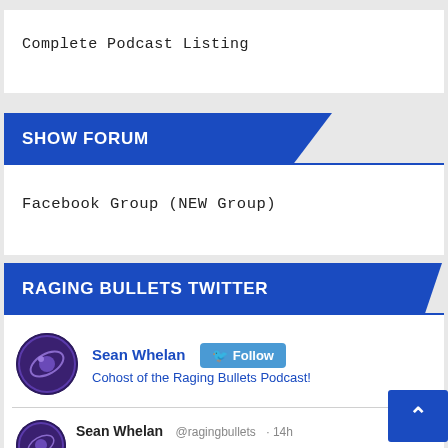Complete Podcast Listing
SHOW FORUM
Facebook Group (NEW Group)
RAGING BULLETS TWITTER
Sean Whelan — Follow — Cohost of the Raging Bullets Podcast!
Sean Whelan @ragingbullets · 14h